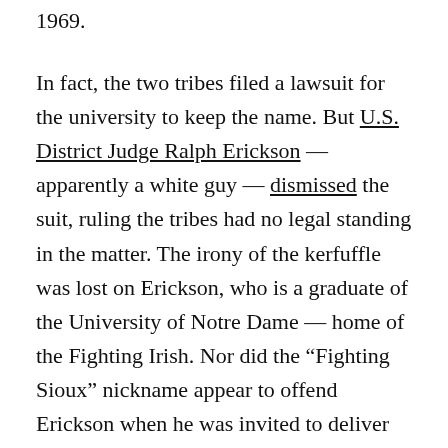1969.
In fact, the two tribes filed a lawsuit for the university to keep the name. But U.S. District Judge Ralph Erickson — apparently a white guy — dismissed the suit, ruling the tribes had no legal standing in the matter. The irony of the kerfuffle was lost on Erickson, who is a graduate of the University of Notre Dame — home of the Fighting Irish. Nor did the “Fighting Sioux” nickname appear to offend Erickson when he was invited to deliver the 2008 commencement address at the university’s law school.
And while political correctness bullies argue “Fighting Sioux” is offensive, the find Not...